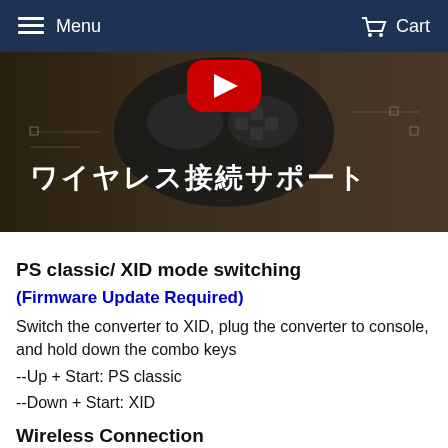Menu   Cart
[Figure (screenshot): Video thumbnail showing a game controller with Japanese text 'ワイヤレス接続サポート' and a YouTube play button overlay]
PS classic/ XID mode switching
(Firmware Update Required)
Switch the converter to XID, plug the converter to console, and hold down the combo keys
--Up + Start: PS classic
--Down + Start: XID
Wireless Connection